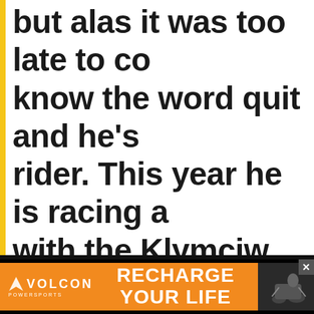but alas it was too late to co... know the word quit and he's ... rider. This year he is racing a... with the Klymciw racing crew... great many variables from hi... and all of us with the good fo... will be cheering him to the fi...
[Figure (infographic): Volcon Powersports advertisement banner with orange background, Volcon logo on left, 'RECHARGE YOUR LIFE' tagline in center, and a photo of a rider on the right. Close button (X) in top right corner.]